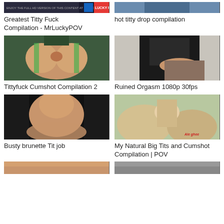[Figure (screenshot): Video thumbnail - dark banner with MrLuckyPOV branding]
Greatest Titty Fuck Compilation - MrLuckyPOV
[Figure (screenshot): Video thumbnail - person in blue shirt, upper body]
hot titty drop compilation
[Figure (screenshot): Video thumbnail - woman in teal dress]
Tittyfuck Cumshot Compilation 2
[Figure (screenshot): Video thumbnail - person in black giving massage]
Ruined Orgasm 1080p 30fps
[Figure (screenshot): Video thumbnail - busty brunette smiling in dark setting]
Busty brunette Tit job
[Figure (screenshot): Video thumbnail - POV adult content]
My Natural Big Tits and Cumshot Compilation | POV
[Figure (screenshot): Video thumbnail - partially visible bottom row left]
[Figure (screenshot): Video thumbnail - partially visible bottom row right]